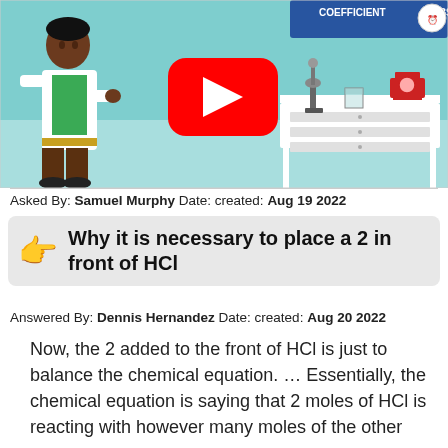[Figure (screenshot): Educational video thumbnail showing an animated scientist in a lab coat standing in a laboratory setting with lab equipment. A YouTube play button overlay is visible. The top of the thumbnail shows text 'COEFFICIENT' and 'SUBSCRIPT' in a blue banner.]
Asked By: Samuel Murphy Date: created: Aug 19 2022
Why it is necessary to place a 2 in front of HCl
Answered By: Dennis Hernandez Date: created: Aug 20 2022
Now, the 2 added to the front of HCl is just to balance the chemical equation. … Essentially, the chemical equation is saying that 2 moles of HCl is reacting with however many moles of the other